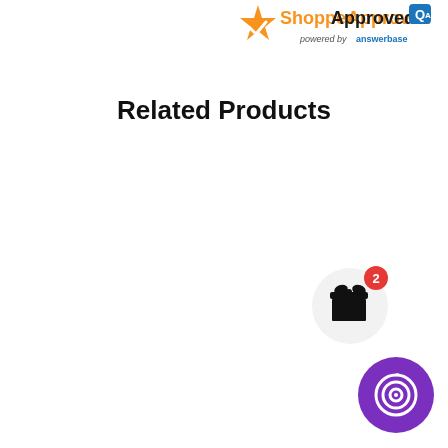[Figure (logo): ShopperApproved logo with orange star icon and text 'ShopperApproved' in orange and dark, with 'powered by answerbase' tagline in blue below]
Related Products
[Figure (illustration): Gift box icon (black) inside a light gray circle, with a red badge showing the number 2 in the top-right corner]
[Figure (illustration): Purple circular button with a white spiral/target icon in the center]